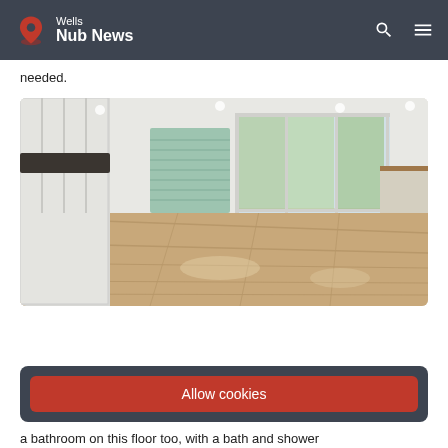Wells Nub News
needed.
[Figure (photo): Interior room photo showing a large open-plan space with white wardrobe panels on the left, a mint-green roller shutter on the back wall, large sliding glass doors opening to a garden, wooden laminate flooring, and a partial kitchen counter/island on the right.]
Allow cookies
a bathroom on this floor too, with a bath and shower